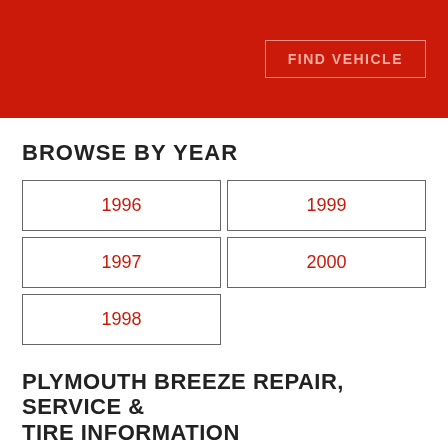FIND VEHICLE
BROWSE BY YEAR
1996
1999
1997
2000
1998
PLYMOUTH BREEZE REPAIR, SERVICE & TIRE INFORMATION
It doesn’t matter how your car performs if you can’t